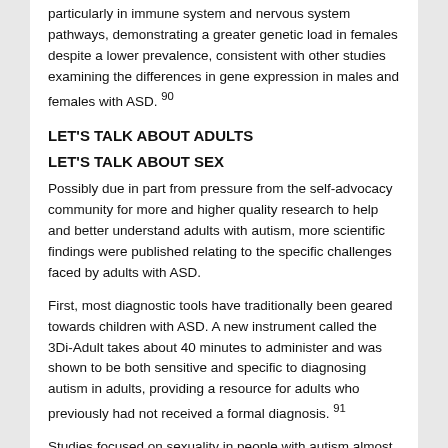particularly in immune system and nervous system pathways, demonstrating a greater genetic load in females despite a lower prevalence, consistent with other studies examining the differences in gene expression in males and females with ASD. 90
LET'S TALK ABOUT ADULTS
LET'S TALK ABOUT SEX
Possibly due in part from pressure from the self-advocacy community for more and higher quality research to help and better understand adults with autism, more scientific findings were published relating to the specific challenges faced by adults with ASD.
First, most diagnostic tools have traditionally been geared towards children with ASD. A new instrument called the 3Di-Adult takes about 40 minutes to administer and was shown to be both sensitive and specific to diagnosing autism in adults, providing a resource for adults who previously had not received a formal diagnosis. 91
Studies focused on sexuality in people with autism almost tripled this year, and many of them reinforced what the N...